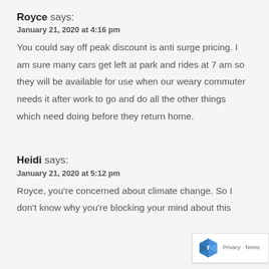Royce says:
January 21, 2020 at 4:16 pm
You could say off peak discount is anti surge pricing. I am sure many cars get left at park and rides at 7 am so they will be available for use when our weary commuter needs it after work to go and do all the other things which need doing before they return home.
Heidi says:
January 21, 2020 at 5:12 pm
Royce, you're concerned about climate change. So I don't know why you're blocking your mind about this